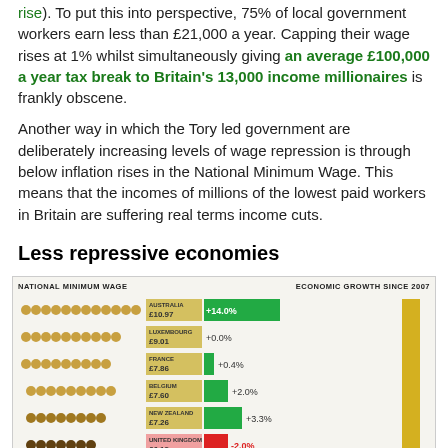rise). To put this into perspective, 75% of local government workers earn less than £21,000 a year. Capping their wage rises at 1% whilst simultaneously giving an average £100,000 a year tax break to Britain's 13,000 income millionaires is frankly obscene.
Another way in which the Tory led government are deliberately increasing levels of wage repression is through below inflation rises in the National Minimum Wage. This means that the incomes of millions of the lowest paid workers in Britain are suffering real terms income cuts.
Less repressive economies
[Figure (infographic): Infographic comparing National Minimum Wage and Economic Growth Since 2007 for six countries. Countries listed: Australia £10.97 (+14.0%), Luxembourg £9.01 (+0.0%), France £7.86 (+0.4%), Belgium £7.60 (+2.0%), New Zealand £7.26 (+3.3%), United Kingdom £6.19 (-2.0%). Title: The five countries with the highest minimum wages.]
THE FIVE COUNTRIES WITH THE HIGHEST MINIMUM WAGES